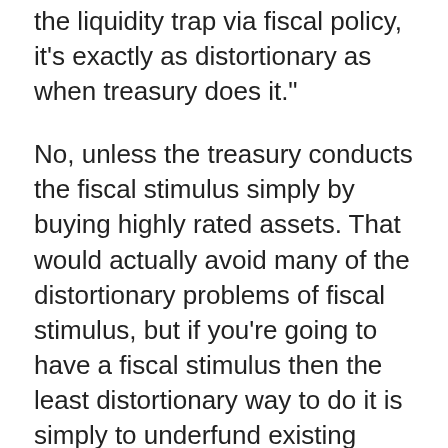the liquidity trap via fiscal policy, it's exactly as distortionary as when treasury does it."
No, unless the treasury conducts the fiscal stimulus simply by buying highly rated assets. That would actually avoid many of the distortionary problems of fiscal stimulus, but if you're going to have a fiscal stimulus then the least distortionary way to do it is simply to underfund existing expenditure (since changes in M = PSBR - sales of gilts + bank lending to the non-bank private sector - non-deposit